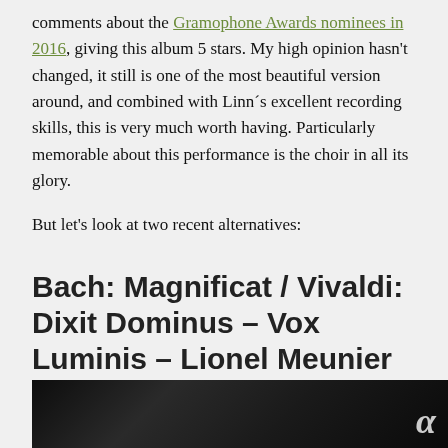comments about the Gramophone Awards nominees in 2016, giving this album 5 stars. My high opinion hasn't changed, it still is one of the most beautiful version around, and combined with Linn´s excellent recording skills, this is very much worth having. Particularly memorable about this performance is the choir in all its glory.
But let's look at two recent alternatives:
Bach: Magnificat / Vivaldi: Dixit Dominus – Vox Luminis – Lionel Meunier (Alpha 2017)
[Figure (photo): Dark/black image, likely an album cover, with a stylized alpha (α) logo visible in the lower right corner.]